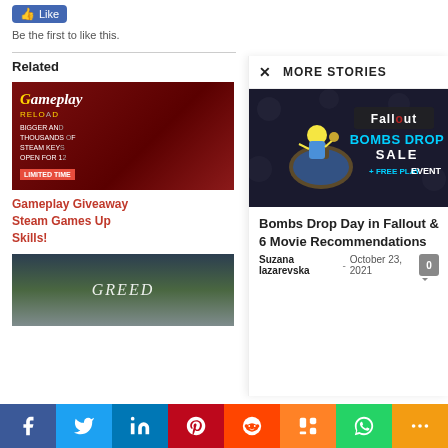Be the first to like this.
Related
[Figure (illustration): Gameplay Giveaway banner — red background with text: Gameplay, RELOAD, BIGGER AND..., THOUSANDS OF..., STEAM KEYS..., OPEN FOR 12..., LIMITED TIME]
Gameplay Giveaway Steam Games Upgrade Skills!
[Figure (photo): Green landscape/nature scene with GREED text visible]
MORE STORIES
[Figure (illustration): Fallout Bombs Drop Sale + Free Play Event promotional banner — dark background with Vault Boy character riding a bomb, Fallout logo, text: BOMBS DROP SALE + FREE PLAY EVENT]
Bombs Drop Day in Fallout & 6 Movie Recommendations
Suzana Iazarevska - October 23, 2021
Facebook Twitter LinkedIn Pinterest Reddit Mix WhatsApp More